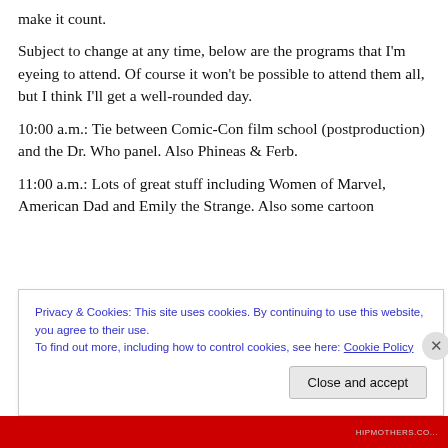make it count.
Subject to change at any time, below are the programs that I'm eyeing to attend. Of course it won't be possible to attend them all, but I think I'll get a well-rounded day.
10:00 a.m.: Tie between Comic-Con film school (postproduction) and the Dr. Who panel. Also Phineas & Ferb.
11:00 a.m.: Lots of great stuff including Women of Marvel, American Dad and Emily the Strange. Also some cartoon
Privacy & Cookies: This site uses cookies. By continuing to use this website, you agree to their use.
To find out more, including how to control cookies, see here: Cookie Policy
Close and accept